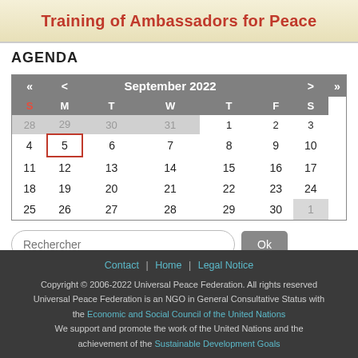[Figure (other): Banner with title 'Training of Ambassadors for Peace' in red on a beige/cream gradient background]
AGENDA
| « | < | September 2022 |  |  |  | > | » |
| --- | --- | --- | --- | --- | --- | --- | --- |
| S | M | T | W | T | F | S |
| 28 | 29 | 30 | 31 | 1 | 2 | 3 |
| 4 | 5 | 6 | 7 | 8 | 9 | 10 |
| 11 | 12 | 13 | 14 | 15 | 16 | 17 |
| 18 | 19 | 20 | 21 | 22 | 23 | 24 |
| 25 | 26 | 27 | 28 | 29 | 30 | 1 |
Rechercher  Ok
Contact | Home | Legal Notice
Copyright © 2006-2022 Universal Peace Federation. All rights reserved
Universal Peace Federation is an NGO in General Consultative Status with the Economic and Social Council of the United Nations
We support and promote the work of the United Nations and the achievement of the Sustainable Development Goals